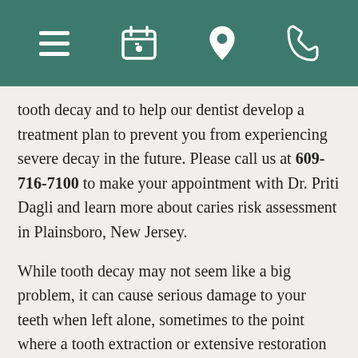[Navigation bar with hamburger menu, calendar, location pin, and phone icons]
tooth decay and to help our dentist develop a treatment plan to prevent you from experiencing severe decay in the future. Please call us at 609-716-7100 to make your appointment with Dr. Priti Dagli and learn more about caries risk assessment in Plainsboro, New Jersey.
While tooth decay may not seem like a big problem, it can cause serious damage to your teeth when left alone, sometimes to the point where a tooth extraction or extensive restoration is required before you can regain a healthy smile. Caries, also known as tooth